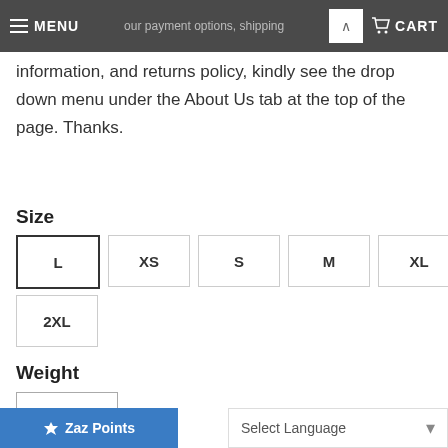MENU  our payment options, shipping  CART
information, and returns policy, kindly see the drop down menu under the About Us tab at the top of the page. Thanks.
Size
| Size options |
| --- |
| L | XS | S | M | XL |
| 2XL |
Weight
| Weight options |
| --- |
| 4 OZ. |
Qty
ADD T
Select Language
Zaz Points